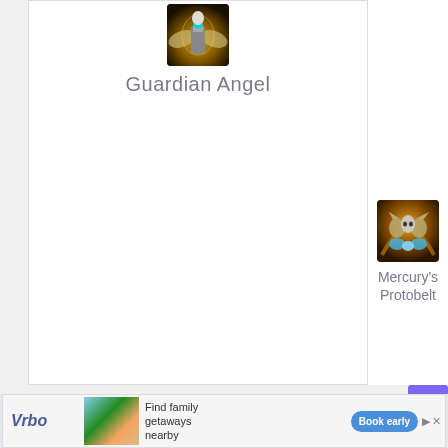[Figure (illustration): Guardian Angel game character icon - armored angelic figure with teal gem and wings, glowing gold background]
Guardian Angel
[Figure (illustration): Mercury's Protobelt game item icon - stylized cats/fairies with blue energy and warm orange background]
Mercury's
Protobelt
[Figure (photo): Vrbo advertisement - Find family getaways nearby - Book early button, beach house photo]